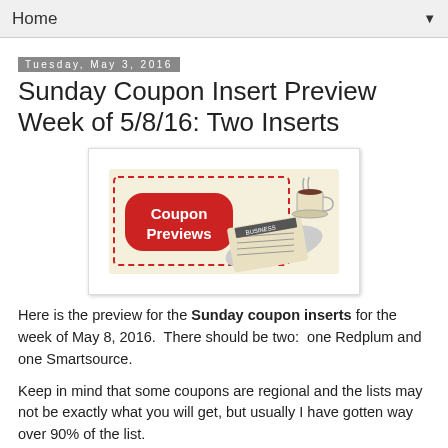Home
Tuesday, May 3, 2016
Sunday Coupon Insert Preview Week of 5/8/16: Two Inserts
[Figure (illustration): Coupon Previews graphic: a red rounded-rectangle button with white text 'Coupon Previews' inside a dashed red border, with an illustration of a folded newspaper and a steaming coffee cup on the right, on a cream/beige background.]
Here is the preview for the Sunday coupon inserts for the week of May 8, 2016.  There should be two:  one Redplum and one Smartsource.
Keep in mind that some coupons are regional and the lists may not be exactly what you will get, but usually I have gotten way over 90% of the list.